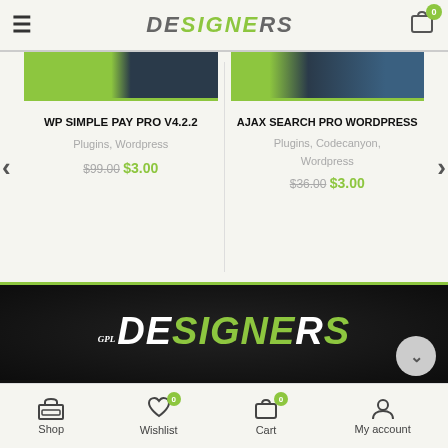GPL Designers – header navigation bar
WP SIMPLE PAY PRO V4.2.2 – Plugins, Wordpress – $99.00 $3.00
AJAX SEARCH PRO WORDPRESS – Plugins, Codecanyon, Wordpress – $36.00 $3.00
[Figure (logo): GPL Designers logo on dark background with large stylized text: GPL DESIGNERS]
All items listed in the GPLDesigners directory are
Shop | Wishlist 0 | Cart 0 | My account